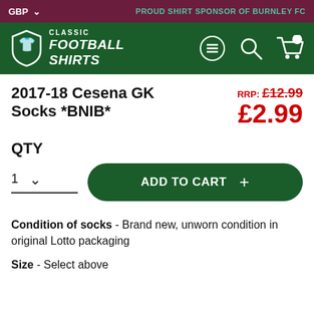GBP  PROUD SHIRT SPONSOR OF BURNLEY FC
[Figure (logo): Classic Football Shirts logo with shield icon, navigation icons (menu, search, cart)]
2017-18 Cesena GK Socks *BNIB*
RRP: £12.99  £2.99
QTY
1  ADD TO CART +
Condition of socks - Brand new, unworn condition in original Lotto packaging
Size - Select above